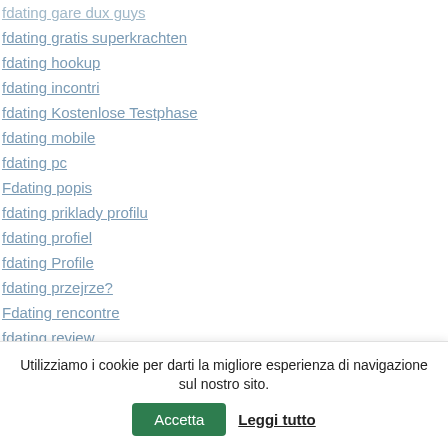fdating gare dux guys
fdating gratis superkrachten
fdating hookup
fdating incontri
fdating Kostenlose Testphase
fdating mobile
fdating pc
Fdating popis
fdating priklady profilu
fdating profiel
fdating Profile
fdating przejrze?
Fdating rencontre
fdating review
fdating reviews
fdating S'inscrire
Utilizziamo i cookie per darti la migliore esperienza di navigazione sul nostro sito.
Accetta
Leggi tutto